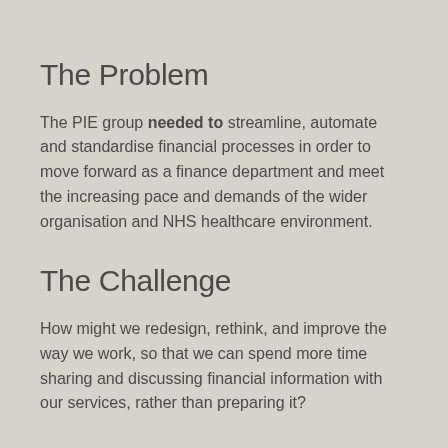The Problem
The PIE group needed to streamline, automate and standardise financial processes in order to move forward as a finance department and meet the increasing pace and demands of the wider organisation and NHS healthcare environment.
The Challenge
How might we redesign, rethink, and improve the way we work, so that we can spend more time sharing and discussing financial information with our services, rather than preparing it?